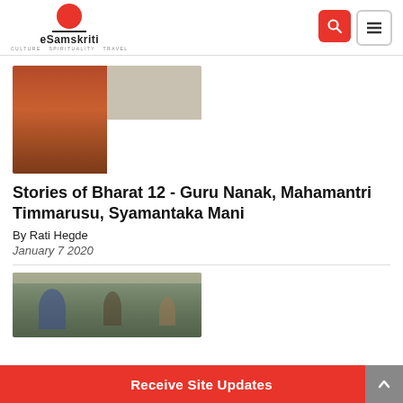eSamskriti - Culture Spirituality Travel
[Figure (photo): Composite image: left side shows a painting of an Indian king in royal attire; top right shows a black-and-white illustration of figures; bottom right shows a colorful illustration of figures in Indian classical style.]
Stories of Bharat 12 - Guru Nanak, Mahamantri Timmarusu, Syamantaka Mani
By Rati Hegde
January 7 2020
[Figure (photo): A painting or mural depicting historical Indian figures, possibly from a temple or manuscript, with text inscriptions visible at the top.]
Receive Site Updates